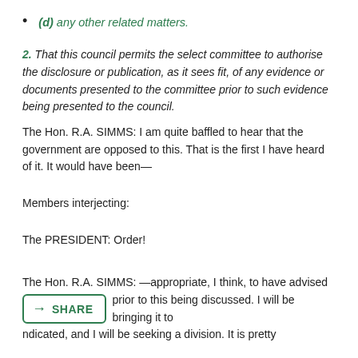(d) any other related matters.
2. That this council permits the select committee to authorise the disclosure or publication, as it sees fit, of any evidence or documents presented to the committee prior to such evidence being presented to the council.
The Hon. R.A. SIMMS: I am quite baffled to hear that the government are opposed to this. That is the first I have heard of it. It would have been—
Members interjecting:
The PRESIDENT: Order!
The Hon. R.A. SIMMS: —appropriate, I think, to have advised [us] prior to this being discussed. I will be bringing it to [the vote as I] indicated, and I will be seeking a division. It is pretty